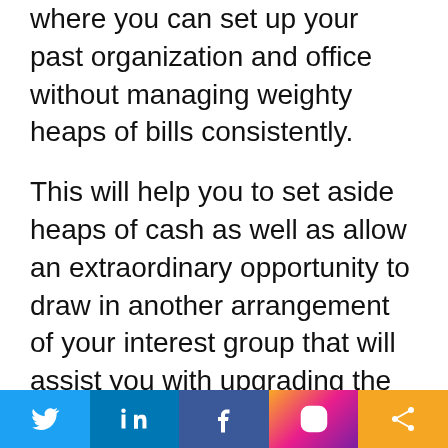where you can set up your past organization and office without managing weighty heaps of bills consistently.
This will help you to set aside heaps of cash as well as allow an extraordinary opportunity to draw in another arrangement of your interest group that will assist you with upgrading the validity and authority of your image by working on web-based acknowledgment.
Better Lifestyle
While moving to another spot could seem like
[Figure (infographic): Social media share bar with Twitter, LinkedIn, Facebook, Instagram, and share icons]